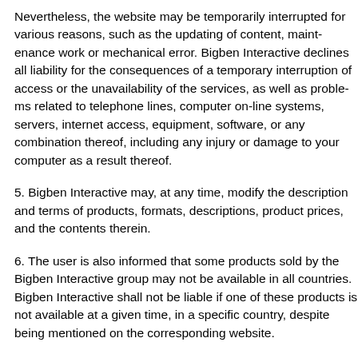Nevertheless, the website may be temporarily interrupted for various reasons, such as the updating of content, maintenance work or mechanical error. Bigben Interactive declines all liability for the consequences of a temporary interruption of access or the unavailability of the services, as well as problems related to telephone lines, computer on-line systems, servers, internet access, equipment, software, or any combination thereof, including any injury or damage to your computer as a result thereof.
5. Bigben Interactive may, at any time, modify the description and terms of products, formats, descriptions, product prices, and the contents therein.
6. The user is also informed that some products sold by the Bigben Interactive group may not be available in all countries. Bigben Interactive shall not be liable if one of these products is not available at a given time, in a specific country, despite being mentioned on the corresponding website.